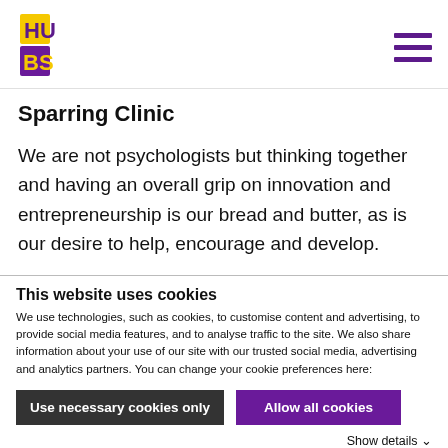HUB·S logo and navigation menu
Sparring Clinic
We are not psychologists but thinking together and having an overall grip on innovation and entrepreneurship is our bread and butter, as is our desire to help, encourage and develop.
This website uses cookies
We use technologies, such as cookies, to customise content and advertising, to provide social media features, and to analyse traffic to the site. We also share information about your use of our site with our trusted social media, advertising and analytics partners. You can change your cookie preferences here:
Use necessary cookies only | Allow all cookies
Show details